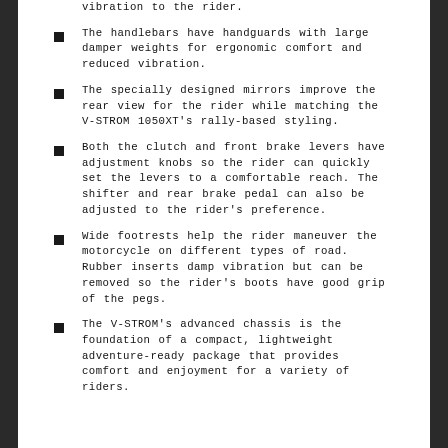vibration to the rider.
The handlebars have handguards with large damper weights for ergonomic comfort and reduced vibration.
The specially designed mirrors improve the rear view for the rider while matching the V-STROM 1050XT's rally-based styling.
Both the clutch and front brake levers have adjustment knobs so the rider can quickly set the levers to a comfortable reach. The shifter and rear brake pedal can also be adjusted to the rider's preference.
Wide footrests help the rider maneuver the motorcycle on different types of road. Rubber inserts damp vibration but can be removed so the rider's boots have good grip of the pegs.
The V-STROM's advanced chassis is the foundation of a compact, lightweight adventure-ready package that provides comfort and enjoyment for a variety of riders.